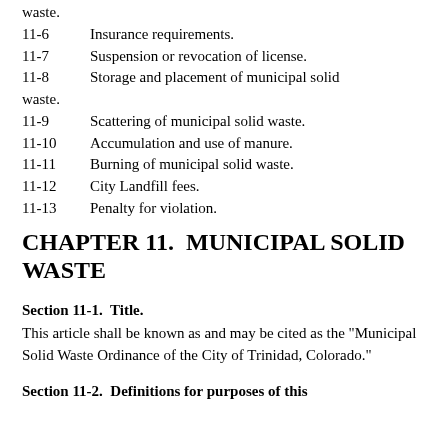11-5  Vehicles used in transporting municipal solid waste.
11-6  Insurance requirements.
11-7  Suspension or revocation of license.
11-8  Storage and placement of municipal solid waste.
11-9  Scattering of municipal solid waste.
11-10  Accumulation and use of manure.
11-11  Burning of municipal solid waste.
11-12  City Landfill fees.
11-13  Penalty for violation.
CHAPTER 11.  MUNICIPAL SOLID WASTE
Section 11-1.  Title.
This article shall be known as and may be cited as the "Municipal Solid Waste Ordinance of the City of Trinidad, Colorado."
Section 11-2.  Definitions for purposes of this